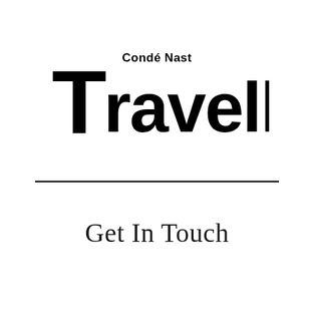[Figure (logo): Condé Nast Traveller logo — bold serif/sans masthead with 'Condé Nast' in small text above large 'Traveller' wordmark]
Get In Touch